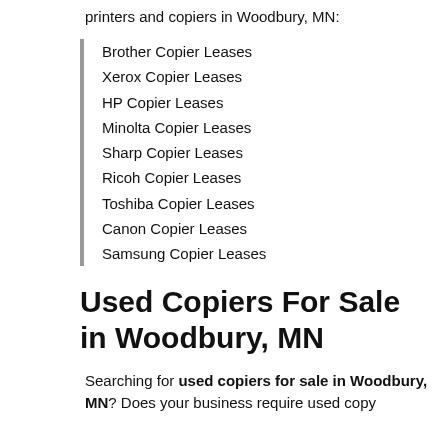printers and copiers in Woodbury, MN:
Brother Copier Leases
Xerox Copier Leases
HP Copier Leases
Minolta Copier Leases
Sharp Copier Leases
Ricoh Copier Leases
Toshiba Copier Leases
Canon Copier Leases
Samsung Copier Leases
Used Copiers For Sale in Woodbury, MN
Searching for used copiers for sale in Woodbury, MN? Does your business require used copy